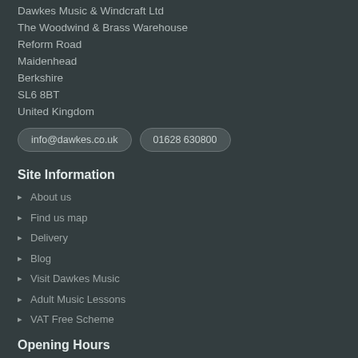Dawkes Music & Windcraft Ltd
The Woodwind & Brass Warehouse
Reform Road
Maidenhead
Berkshire
SL6 8BT
United Kingdom
info@dawkes.co.uk   01628 630800
Site Information
About us
Find us map
Delivery
Blog
Visit Dawkes Music
Adult Music Lessons
VAT Free Scheme
Opening Hours
Monday - Saturday: 9:30 - 5:30
Service & Support
Contact Us